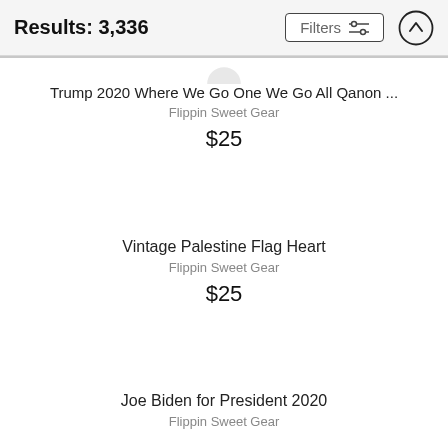Results: 3,336
Trump 2020 Where We Go One We Go All Qanon ...
Flippin Sweet Gear
$25
Vintage Palestine Flag Heart
Flippin Sweet Gear
$25
Joe Biden for President 2020
Flippin Sweet Gear